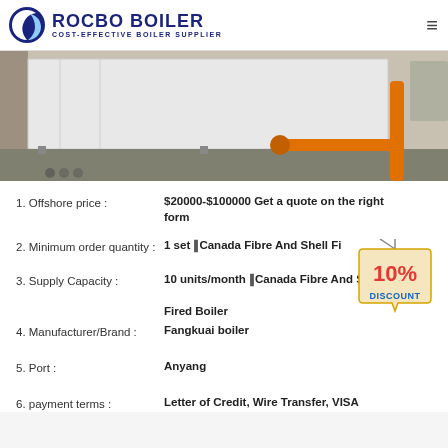[Figure (logo): Rocbo Boiler logo with crescent moon icon and text 'COST-EFFECTIVE BOILER SUPPLIER']
[Figure (photo): Photo of a white industrial boiler unit with orange gas pipes on a concrete floor]
1. Offshore price : $20000-$100000 Get a quote on the right form
2. Minimum order quantity : 1 set Canada Fibre And Shell Fi...
3. Supply Capacity : 10 units/month Canada Fibre And Shell Fired Boiler
4. Manufacturer/Brand : Fangkuai boiler
5. Port : Anyang
6. payment terms : Letter of Credit, Wire Transfer, VISA